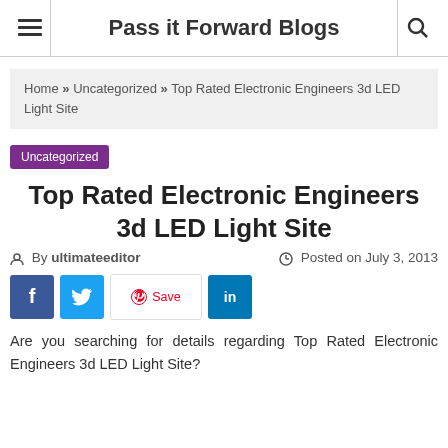Pass it Forward Blogs
Home » Uncategorized » Top Rated Electronic Engineers 3d LED Light Site
Uncategorized
Top Rated Electronic Engineers 3d LED Light Site
By ultimateeditor   Posted on July 3, 2013
[Figure (other): Social share buttons: Facebook, Twitter, Pinterest Save, LinkedIn]
Are you searching for details regarding Top Rated Electronic Engineers 3d LED Light Site?